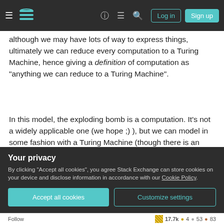Stack Exchange navigation bar with hamburger menu, logo, help, chat, search icons, Log in and Sign up buttons
although we may have lots of way to express things, ultimately we can reduce every computation to a Turing Machine, hence giving a definition of computation as "anything we can reduce to a Turing Machine".
In this model, the exploding bomb is a computation. It's not a widely applicable one (we hope ;) ), but we can model in some fashion with a Turing Machine (though there is an argument here about the nature of the output and the equivalence with the TM's
Your privacy
By clicking "Accept all cookies", you agree Stack Exchange can store cookies on your device and disclose information in accordance with our Cookie Policy.
Accept all cookies    Customize settings
Follow   17.7k  4  53  83